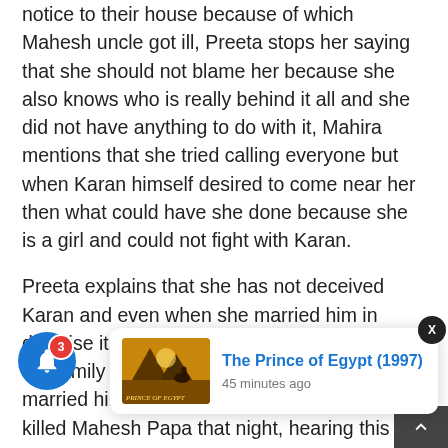notice to their house because of which Mahesh uncle got ill, Preeta stops her saying that she should not blame her because she also knows who is really behind it all and she did not have anything to do with it, Mahira mentions that she tried calling everyone but when Karan himself desired to come near her then what could have she done because she is a girl and could not fight with Karan.
Preeta explains that she has not deceived Karan and even when she married him in disguise it was not to ruin the life but to save the family from her because had she not married him, Sherlin and Mahira would have killed Mahesh Papa that night, hearing this everyone is shocked, Preeta explains how they both have always tried to harm the family and Mahira pushed Mahesh papa at the function of Holi, Preeta explains that she should not be blamed, Mahira and she did not ... would she sent a notice to her own family.
[Figure (other): Notification popup card showing 'The Prince of Egypt (1997)' with a movie thumbnail and '45 minutes ago' timestamp, overlaying the bottom portion of the text content. A blue notification bell button with red badge showing '3' is on the left, and an X close button on the top right of the card.]